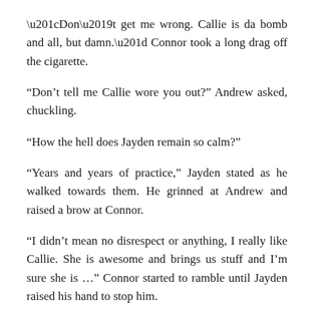“Don’t get me wrong. Callie is da bomb and all, but damn.” Connor took a long drag off the cigarette.
“Don’t tell me Callie wore you out?” Andrew asked, chuckling.
“How the hell does Jayden remain so calm?”
“Years and years of practice,” Jayden stated as he walked towards them. He grinned at Andrew and raised a brow at Connor.
“I didn’t mean no disrespect or anything, I really like Callie. She is awesome and brings us stuff and I’m sure she is …” Connor started to ramble until Jayden raised his hand to stop him.